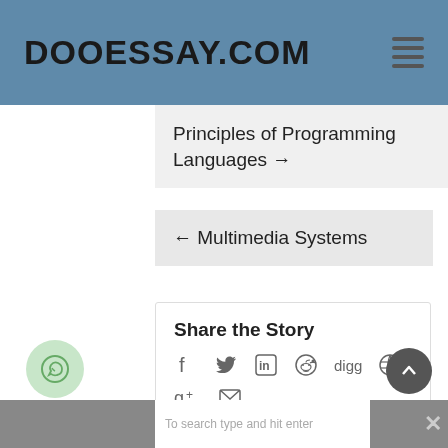DOOESSAY.COM
Principles of Programming Languages →
← Multimedia Systems
Share the Story
[Figure (other): Social sharing icons: Facebook, Twitter, LinkedIn, Reddit, Digg, globe/share, Google+, Email]
Share This